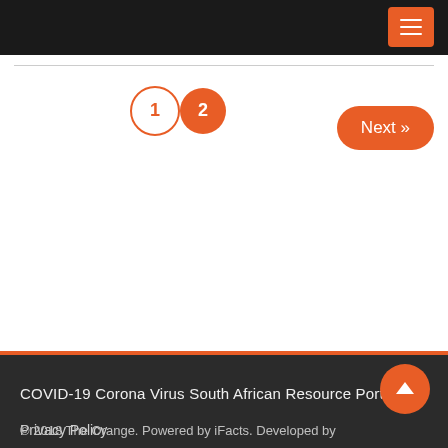[Navigation bar with hamburger menu]
[Figure (infographic): Pagination controls showing page 1 (inactive circle) and page 2 (active orange circle), plus a Next >> button on the right]
COVID-19 Corona Virus South African Resource Portal
Privacy Policy
[Figure (infographic): Orange circular scroll-to-top button with upward chevron arrow]
© 2018 The Orange. Powered by iFacts. Developed by